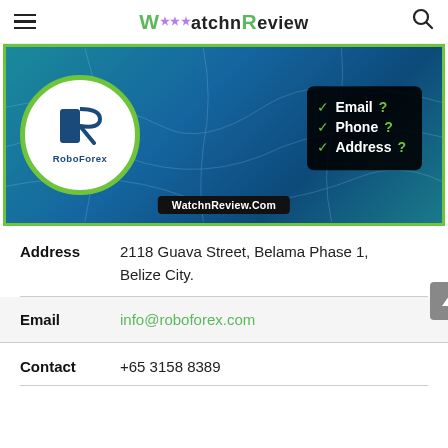WatchnReview
[Figure (screenshot): RoboForex banner image showing RoboForex logo in a white circle with green border on a teal/blue world map background. Right side shows a black box with checkmarks and text: Email ?, Phone ?, Address ?. Bottom has WatchnReview.Com watermark.]
| Address | 2118 Guava Street, Belama Phase 1, Belize City. |
| Email | info@roboforex.com |
| Contact | +65 3158 8389 |